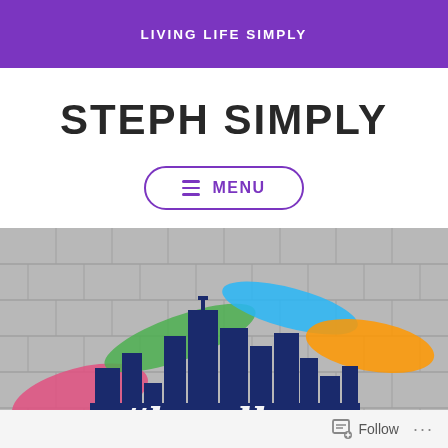LIVING LIFE SIMPLY
STEPH SIMPLY
MENU
[Figure (photo): Street mural on a concrete block wall showing a colorful city skyline silhouette in dark blue with paint splashes in pink, green, blue, and orange, and white script text reading '#locally']
Follow ...